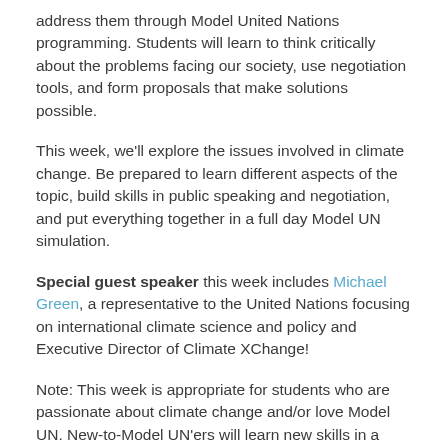address them through Model United Nations programming. Students will learn to think critically about the problems facing our society, use negotiation tools, and form proposals that make solutions possible.
This week, we'll explore the issues involved in climate change. Be prepared to learn different aspects of the topic, build skills in public speaking and negotiation, and put everything together in a full day Model UN simulation.
Special guest speaker this week includes Michael Green, a representative to the United Nations focusing on international climate science and policy and Executive Director of Climate XChange!
Note: This week is appropriate for students who are passionate about climate change and/or love Model UN. New-to-Model UN'ers will learn new skills in a supported environment and experienced Model UN'ers will learn new tips and tricks during the multiple no-prep practice simulations.
You'll have a chance to: